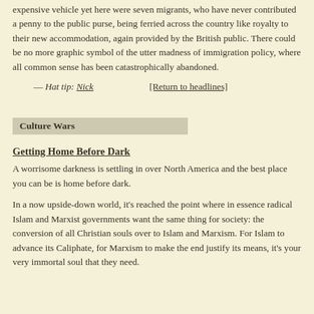expensive vehicle yet here were seven migrants, who have never contributed a penny to the public purse, being ferried across the country like royalty to their new accommodation, again provided by the British public. There could be no more graphic symbol of the utter madness of immigration policy, where all common sense has been catastrophically abandoned.
— Hat tip: Nick        [Return to headlines]
Culture Wars
Getting Home Before Dark
A worrisome darkness is settling in over North America and the best place you can be is home before dark.
In a now upside-down world, it's reached the point where in essence radical Islam and Marxist governments want the same thing for society: the conversion of all Christian souls over to Islam and Marxism. For Islam to advance its Caliphate, for Marxism to make the end justify its means, it's your very immortal soul that they need.